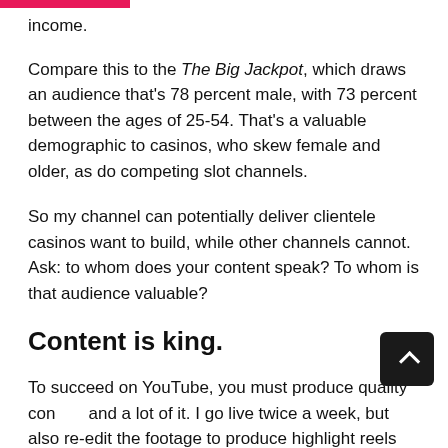income.
Compare this to the The Big Jackpot, which draws an audience that's 78 percent male, with 73 percent between the ages of 25-54. That's a valuable demographic to casinos, who skew female and older, as do competing slot channels.
So my channel can potentially deliver clientele casinos want to build, while other channels cannot. Ask: to whom does your content speak? To whom is that audience valuable?
Content is king.
To succeed on YouTube, you must produce quality content and a lot of it. I go live twice a week, but also re-edit the footage to produce highlight reels each day. My subscribers